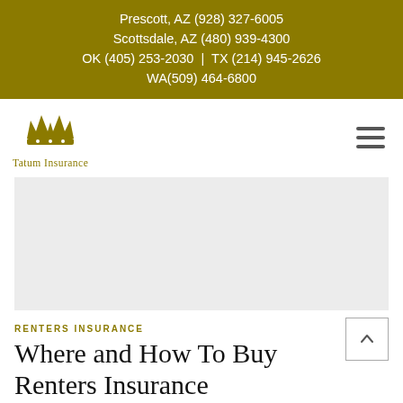Prescott, AZ (928) 327-6005
Scottsdale, AZ (480) 939-4300
OK (405) 253-2030 | TX (214) 945-2626
WA(509) 464-6800
[Figure (logo): Tatum Insurance crown logo with text 'Tatum Insurance']
[Figure (photo): Hero image placeholder (light gray background)]
RENTERS INSURANCE
Where and How To Buy Renters Insurance